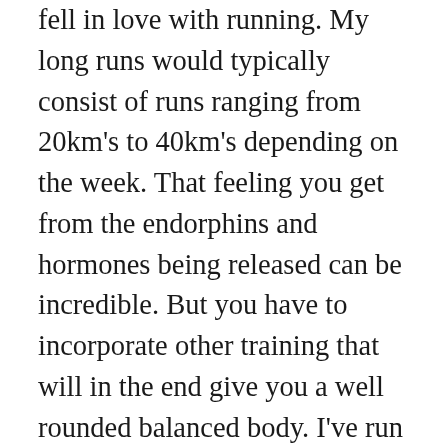fell in love with running. My long runs would typically consist of runs ranging from 20km's to 40km's depending on the week. That feeling you get from the endorphins and hormones being released can be incredible. But you have to incorporate other training that will in the end give you a well rounded balanced body. I've run into people who when they find out I train in Karate they tell me they used to do Karate until they got injured doing it. Unless it was due to sparring or another underlying issue I guarantee it was due to incorrect technique. How do I know? Because I educate myself on these things, on how mechanics of the body work to produce power and how improper mechanics will cause injury. Also, I've been to Okinawa a number of times training with